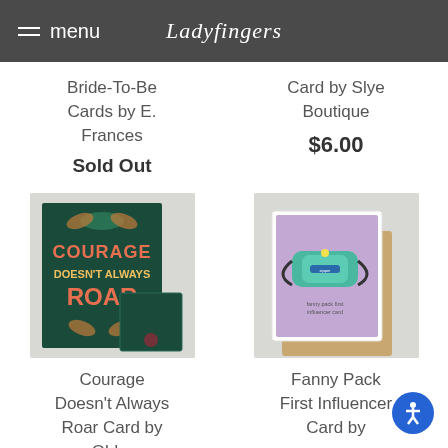menu | Ladyfingers
Bride-To-Be Cards by E. Frances
Sold Out
Card by Slye Boutique
$6.00
[Figure (photo): Courage Doesn't Always Roar greeting card with dark green background, pink and gold decorative lettering, shown with matching small square card]
[Figure (photo): Fanny Pack First Influencer greeting card on lavender background showing illustrated fanny pack, with kraft envelope behind it]
Courage Doesn't Always Roar Card by Old...
Fanny Pack First Influencer Card by